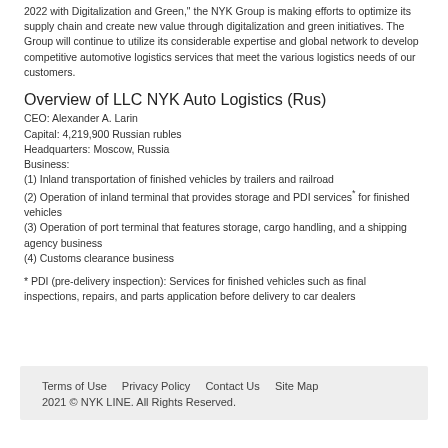2022 with Digitalization and Green," the NYK Group is making efforts to optimize its supply chain and create new value through digitalization and green initiatives. The Group will continue to utilize its considerable expertise and global network to develop competitive automotive logistics services that meet the various logistics needs of our customers.
Overview of LLC NYK Auto Logistics (Rus)
CEO: Alexander A. Larin
Capital: 4,219,900 Russian rubles
Headquarters: Moscow, Russia
Business:
(1) Inland transportation of finished vehicles by trailers and railroad
(2) Operation of inland terminal that provides storage and PDI services* for finished vehicles
(3) Operation of port terminal that features storage, cargo handling, and a shipping agency business
(4) Customs clearance business
* PDI (pre-delivery inspection): Services for finished vehicles such as final inspections, repairs, and parts application before delivery to car dealers
Terms of Use   Privacy Policy   Contact Us   Site Map
2021 © NYK LINE. All Rights Reserved.